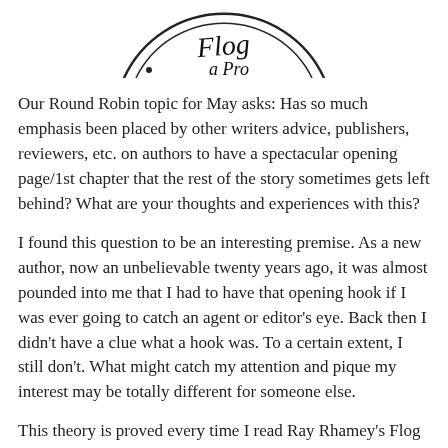[Figure (illustration): Partial circular stamp/logo with handwritten-style text inside, shown cropped at the top of the page]
Our Round Robin topic for May asks: Has so much emphasis been placed by other writers advice, publishers, reviewers, etc. on authors to have a spectacular opening page/1st chapter that the rest of the story sometimes gets left behind? What are your thoughts and experiences with this?
I found this question to be an interesting premise. As a new author, now an unbelievable twenty years ago, it was almost pounded into me that I had to have that opening hook if I was ever going to catch an agent or editor's eye. Back then I didn't have a clue what a hook was. To a certain extent, I still don't. What might catch my attention and pique my interest may be totally different for someone else.
This theory is proved every time I read Ray Rhamey's Flog a Pro blog on the Writer Unboxed site. If you are not familiar with WU or Ray Rhamey, take a look here at http://tinyurl.com/m4hh2u3. I am often caught out by what I find appealing and worth reading, only to have Ray flog it and then in the very next blog it will be